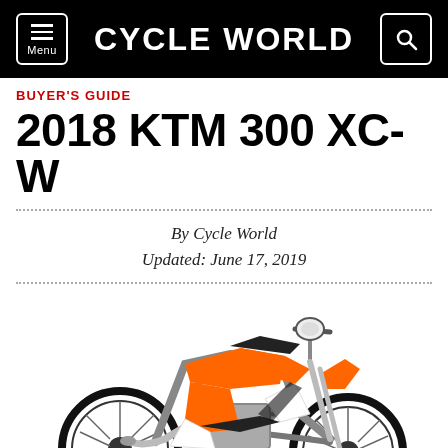CYCLE WORLD
BUYER'S GUIDE
2018 KTM 300 XC-W
By Cycle World
Updated: June 17, 2019
[Figure (photo): 2018 KTM 300 XC-W dirt bike, orange and white color scheme, side profile view, shown against white background]